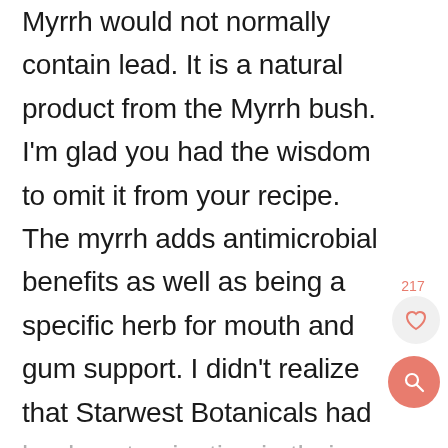Myrrh would not normally contain lead. It is a natural product from the Myrrh bush. I'm glad you had the wisdom to omit it from your recipe. The myrrh adds antimicrobial benefits as well as being a specific herb for mouth and gum support. I didn't realize that Starwest Botanicals had lead contamination in their wild crafted myrrh powder.